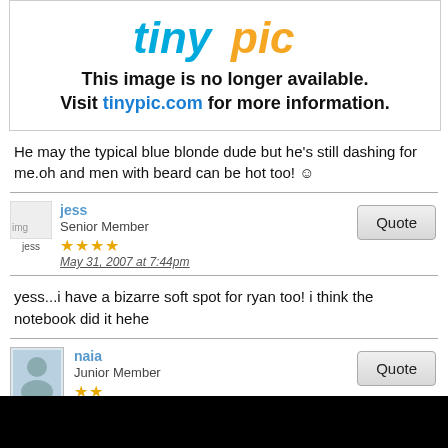[Figure (screenshot): Tinypic placeholder image showing logo and message: This image is no longer available. Visit tinypic.com for more information.]
He may the typical blue blonde dude but he's still dashing for me.oh and men with beard can be hot too! 😊
jess
Senior Member
★★★★
May 31, 2007 at 7:44pm
yess...i have a bizarre soft spot for ryan too! i think the notebook did it hehe
naia
Junior Member
★★
May 31, 2007 at 7:56pm
Aah The Notebook.I love both the movie and the book.I thought Ryan played Noah really well.*heart melting* lol